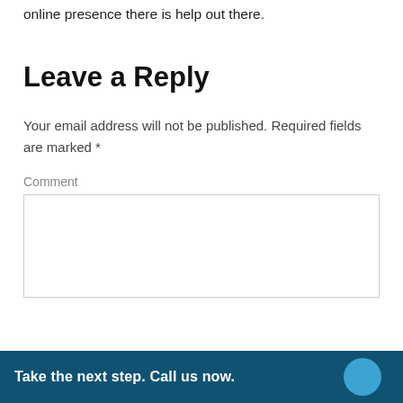online presence there is help out there.
Leave a Reply
Your email address will not be published. Required fields are marked *
Comment
Take the next step. Call us now.